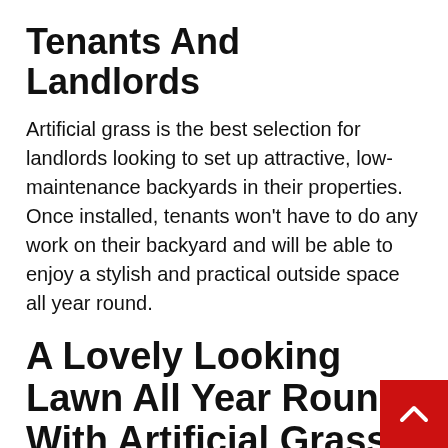Tenants And Landlords
Artificial grass is the best selection for landlords looking to set up attractive, low-maintenance backyards in their properties. Once installed, tenants won't have to do any work on their backyard and will be able to enjoy a stylish and practical outside space all year round.
A Lovely Looking Lawn All Year Round With Artificial Grass
Last but certainly not least, among the best reasons to install artificial grass is that it looks fantastic. Whether you're renovating an outdoor patio, a terrace or an entire garden, setting up high-quality artificial grass will be...